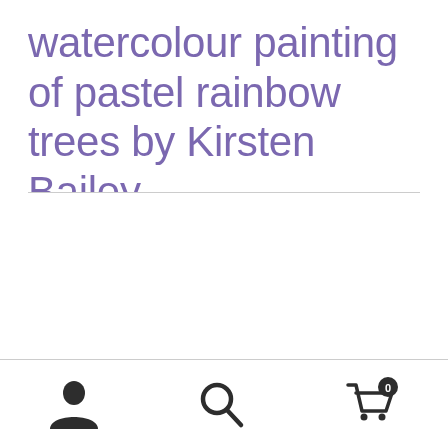watercolour painting of pastel rainbow trees by Kirsten Bailey
[Figure (other): Bottom navigation bar with three icons: user/person icon, search/magnifying glass icon, and shopping cart icon with badge showing 0]